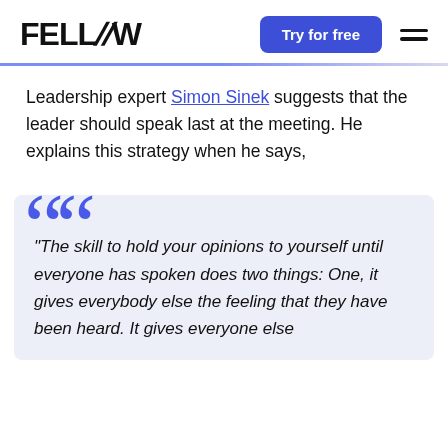FELLOW — Try for free
Leadership expert Simon Sinek suggests that the leader should speak last at the meeting. He explains this strategy when he says,
“The skill to hold your opinions to yourself until everyone has spoken does two things: One, it gives everybody else the feeling that they have been heard. It gives everyone else